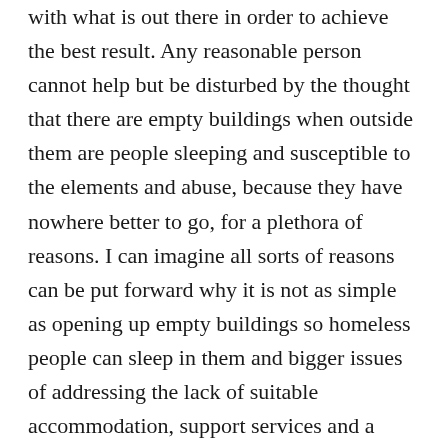with what is out there in order to achieve the best result. Any reasonable person cannot help but be disturbed by the thought that there are empty buildings when outside them are people sleeping and susceptible to the elements and abuse, because they have nowhere better to go, for a plethora of reasons. I can imagine all sorts of reasons can be put forward why it is not as simple as opening up empty buildings so homeless people can sleep in them and bigger issues of addressing the lack of suitable accommodation, support services and a broken welfare system remain unresolved.